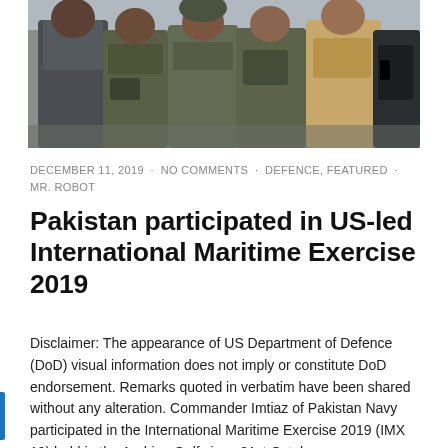[Figure (photo): Group of military personnel in uniforms and tactical gear standing together outdoors.]
DECEMBER 11, 2019 · NO COMMENTS · DEFENCE, FEATURED · MR. ROBOT
Pakistan participated in US-led International Maritime Exercise 2019
Disclaimer: The appearance of US Department of Defence (DoD) visual information does not imply or constitute DoD endorsement. Remarks quoted in verbatim have been shared without any alteration. Commander Imtiaz of Pakistan Navy participated in the International Maritime Exercise 2019 (IMX 19) held in the Arabian Gulf since 21st October.